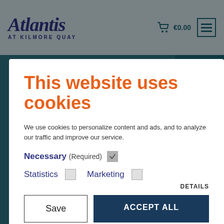[Figure (screenshot): Atlantis at Kilmore Quay website header with logo, cart showing €0.00, and hamburger menu icon on a light blue-grey background]
[Figure (screenshot): Teal navigation sidebar with four plus-circle icons separated by horizontal divider lines]
This website uses cookies
We use cookies to personalize content and ads, and to analyze our traffic and improve our service.
Necessary (Required)
Statistics   Marketing
DETAILS
Save   ACCEPT ALL